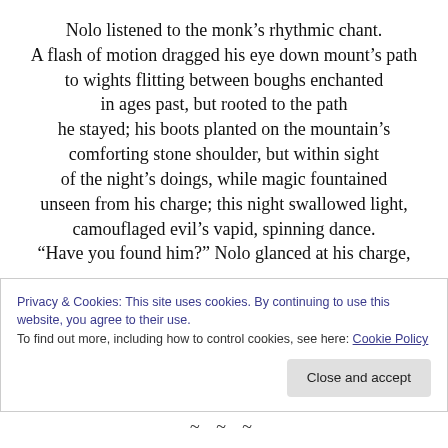Nolo listened to the monk's rhythmic chant.
A flash of motion dragged his eye down mount's path
to wights flitting between boughs enchanted
in ages past, but rooted to the path
he stayed; his boots planted on the mountain's
comforting stone shoulder, but within sight
of the night's doings, while magic fountained
unseen from his charge; this night swallowed light,
camouflaged evil's vapid, spinning dance.
“Have you found him?” Nolo glanced at his charge,
Privacy & Cookies: This site uses cookies. By continuing to use this website, you agree to their use.
To find out more, including how to control cookies, see here: Cookie Policy
~ ~ ~